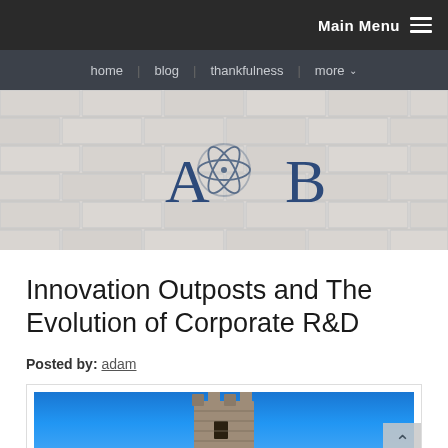Main Menu
home | blog | thankfulness | more
[Figure (logo): A∞B logo with atomic/orbital symbol between the letters A and B, on a white brick wall background]
Innovation Outposts and The Evolution of Corporate R&D
Posted by: adam
[Figure (photo): A stone medieval tower or castle turret against a bright blue sky]